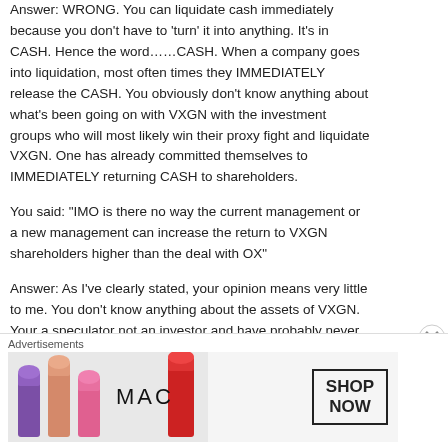Answer: WRONG. You can liquidate cash immediately because you don't have to 'turn' it into anything. It's in CASH. Hence the word……CASH. When a company goes into liquidation, most often times they IMMEDIATELY release the CASH. You obviously don't know anything about what's been going on with VXGN with the investment groups who will most likely win their proxy fight and liquidate VXGN. One has already committed themselves to IMMEDIATELY returning CASH to shareholders.
You said: "IMO is there no way the current management or a new management can increase the return to VXGN shareholders higher than the deal with OX"
Answer: As I've clearly stated, your opinion means very little to me. You don't know anything about the assets of VXGN. Your a speculator not an investor and have probably never read a financial statement or an SEC filing in your life. I will not go into detail to explain to you just how much VXGN's assets are worth.
You said: "Liquidating a company costs money and takes a long time, a merger costs far less and is much faster."
Answer: WRONG. When a company is made up mostly of cash, it doesn't cost anything to liquidate the business because all a company has to do is to the shareholders. There's no transfer fee's, no auction fees, no...
Advertisements
[Figure (photo): MAC cosmetics advertisement banner showing lipsticks in purple, peach and pink colors on the left, MAC logo in the center, and a 'SHOP NOW' box on the right against a light background.]